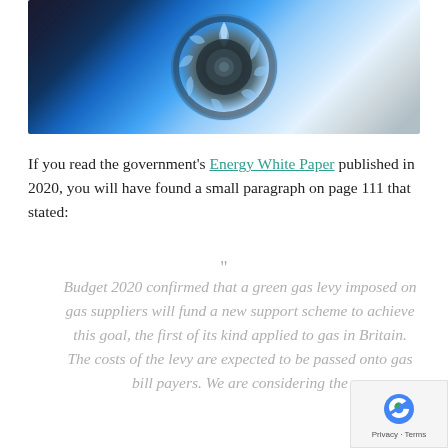[Figure (photo): Close-up photograph of a gas hob burner with blue flames against a light blue and white background]
If you read the government's Energy White Paper published in 2020, you will have found a small paragraph on page 111 that stated:
Budget 2020 confirmed that a green gas levy imposed on gas suppliers will fund a new support scheme to achieve this goal, the first of its kind applied to gas in Britain. The costs of the levy are expected to be passed onto gas bill payers. We are considering the